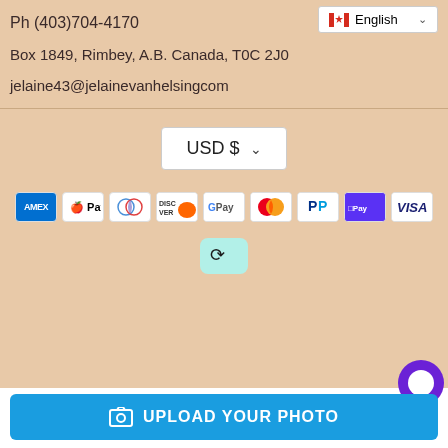Ph (403)704-4170
[Figure (screenshot): Language selector dropdown showing Canadian flag and 'English' text with chevron]
Box 1849, Rimbey, A.B. Canada, T0C 2J0
jelaine43@jelainevanhelsingcom
[Figure (screenshot): Currency selector button showing 'USD $' with dropdown chevron]
[Figure (screenshot): Payment method icons: AMEX, Apple Pay, Diners, Discover, Google Pay, Mastercard, PayPal, Shop Pay, Visa, and Afterpay]
[Figure (screenshot): Blue upload button with image icon reading 'UPLOAD YOUR PHOTO' and purple chat bubble icon]